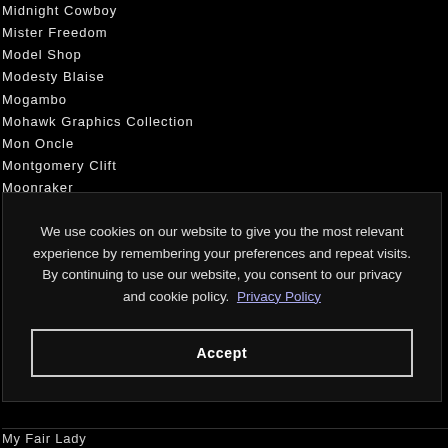Midnight Cowboy
Mister Freedom
Model Shop
Modesty Blaise
Mogambo
Mohawk Graphics Collection
Mon Oncle
Montgomery Clift
Moonraker
Moonstruck
We use cookies on our website to give you the most relevant experience by remembering your preferences and repeat visits. By continuing to use our website, you consent to our privacy and cookie policy. Privacy Policy
Accept
My Fair Lady